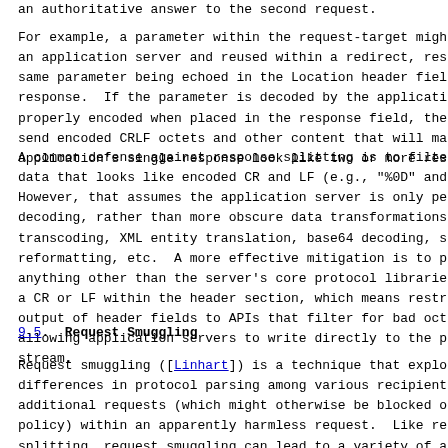an authoritative answer to the second request.
For example, a parameter within the request-target might an application server and reused within a redirect, res same parameter being echoed in the Location header fiel response.  If the parameter is decoded by the applicati properly encoded when placed in the response field, the send encoded CRLF octets and other content that will ma application's single response look like two or more res
A common defense against response splitting is to filte data that looks like encoded CR and LF (e.g., "%0D" and However, that assumes the application server is only pe decoding, rather than more obscure data transformations transcoding, XML entity translation, base64 decoding, s reformatting, etc.  A more effective mitigation is to p anything other than the server's core protocol librarie a CR or LF within the header section, which means restr output of header fields to APIs that filter for bad oct allowing application servers to write directly to the p stream.
9.5.  Request Smuggling
Request smuggling ([Linhart]) is a technique that explo differences in protocol parsing among various recipient additional requests (which might otherwise be blocked o policy) within an apparently harmless request.  Like re splitting, request smuggling can lead to a variety of a usage.